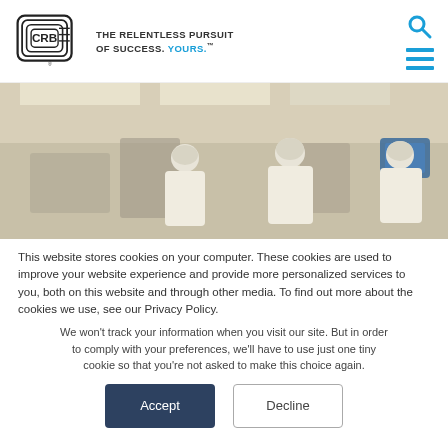[Figure (logo): CRB company logo with circular interlocking C-R-B letters and registered trademark symbol]
THE RELENTLESS PURSUIT OF SUCCESS. YOURS.™
[Figure (photo): Pharmaceutical cleanroom with workers in white lab coats and hair nets operating manufacturing equipment]
This website stores cookies on your computer. These cookies are used to improve your website experience and provide more personalized services to you, both on this website and through other media. To find out more about the cookies we use, see our Privacy Policy.
We won't track your information when you visit our site. But in order to comply with your preferences, we'll have to use just one tiny cookie so that you're not asked to make this choice again.
Accept
Decline